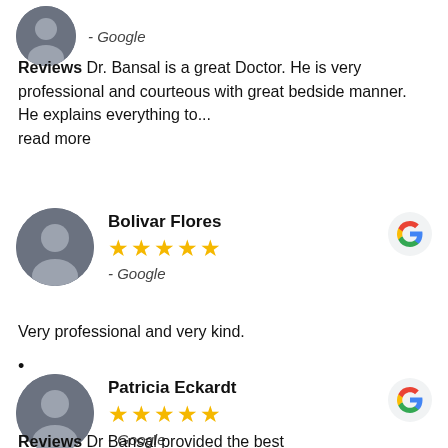[Figure (illustration): Partial view of a profile avatar at top of page with '- Google' source label below it]
Reviews Dr. Bansal is a great Doctor. He is very professional and courteous with great bedside manner. He explains everything to... read more
[Figure (illustration): Bolivar Flores reviewer with avatar, 5 stars, - Google, and Google G logo]
Very professional and very kind.
•
[Figure (illustration): Patricia Eckardt reviewer with avatar, 5 stars, - Google, and Google G logo]
Reviews Dr Bansal provided the best